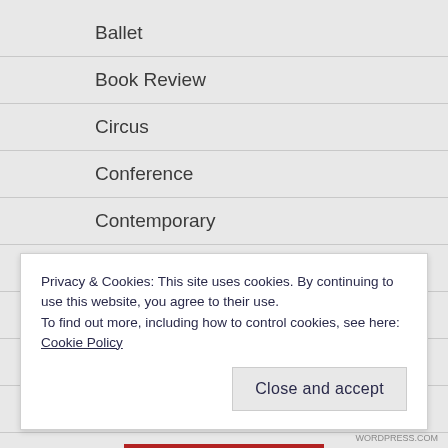Ballet
Book Review
Circus
Conference
Contemporary
COVID-29
Durational
flamenco
Full-Length Dance
Giselle
Privacy & Cookies: This site uses cookies. By continuing to use this website, you agree to their use.
To find out more, including how to control cookies, see here: Cookie Policy
Close and accept